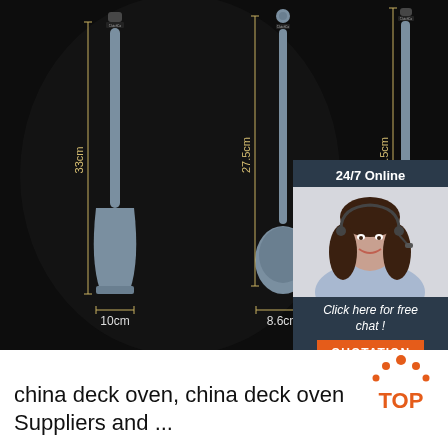[Figure (photo): Product image of three grey silicone kitchen utensils (spatula, ladle, and another tool) on a dark background with dimension markings: 33cm height and 10cm width for spatula, 27.5cm height and 8.6cm width for ladle, 32.5cm for third utensil. Includes a 24/7 Online customer service chat box overlay with agent photo, 'Click here for free chat!' text, and orange QUOTATION button.]
china deck oven, china deck oven Suppliers and ...